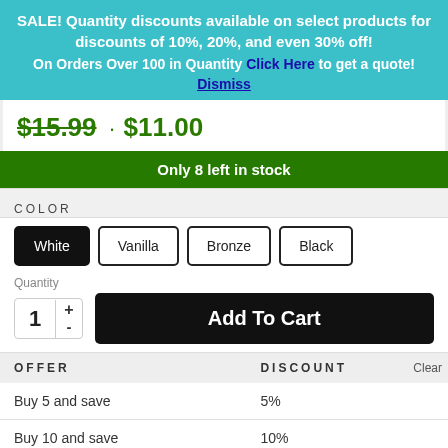SALE! Quantity discounts available on select products for discounts of 10%, 20%, and even 30% off!
On Orders Over 100 in Quantity Click Here to get a quote!
Dismiss
$15.99 · $11.00
Only 8 left in stock
COLOR
White
Vanilla
Bronze
Black
Quantity
1
+
-
Add To Cart
| OFFER | DISCOUNT | Clear |
| --- | --- | --- |
| Buy 5 and save | 5% |  |
| Buy 10 and save | 10% |  |